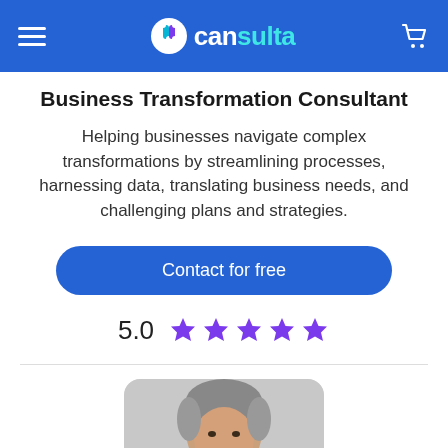cansulta
Business Transformation Consultant
Helping businesses navigate complex transformations by streamlining processes, harnessing data, translating business needs, and challenging plans and strategies.
Contact for free
5.0 ★★★★★
[Figure (photo): Headshot photo of a middle-aged man with grey hair, smiling, on a light grey rounded card background]